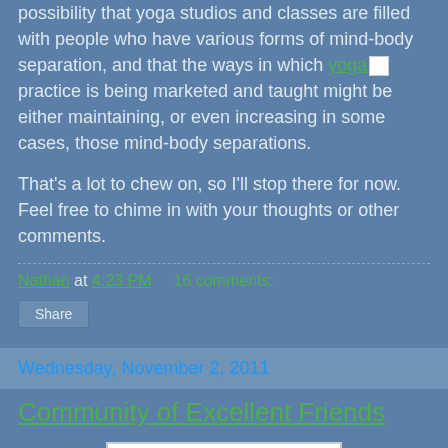possibility that yoga studios and classes are filled with people who have various forms of mind-body separation, and that the ways in which yoga practice is being marketed and taught might be either maintaining, or even increasing in some cases, those mind-body separations.
That's a lot to chew on, so I'll stop there for now. Feel free to chime in with your thoughts or other comments.
Nathan at 4:23 PM    16 comments:
Share
Wednesday, November 2, 2011
Community of Excellent Friends
[Figure (photo): An image placeholder with broken image icon in top-left corner on white background]